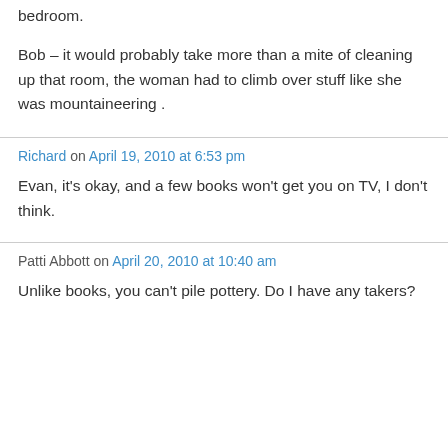bedroom.
Bob – it would probably take more than a mite of cleaning up that room, the woman had to climb over stuff like she was mountaineering .
Richard on April 19, 2010 at 6:53 pm
Evan, it's okay, and a few books won't get you on TV, I don't think.
Patti Abbott on April 20, 2010 at 10:40 am
Unlike books, you can't pile pottery. Do I have any takers?